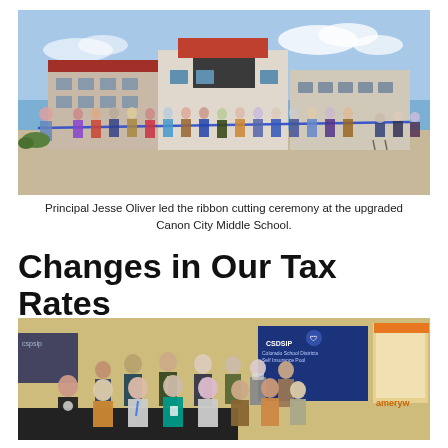[Figure (photo): Panoramic photo of a ribbon cutting ceremony outside Canon City Middle School. A long line of students and adults hold a blue ribbon across the front of the modern school building. People seated in chairs are watching on the right side.]
Principal Jesse Oliver led the ribbon cutting ceremony at the upgraded Canon City Middle School.
Changes in Our Tax Rates
[Figure (photo): Group photo of students and adults posing together at what appears to be a conference or event. A CSDSIP (Colorado School Districts Self Insurance Pool) banner is visible in the background along with other display booths.]